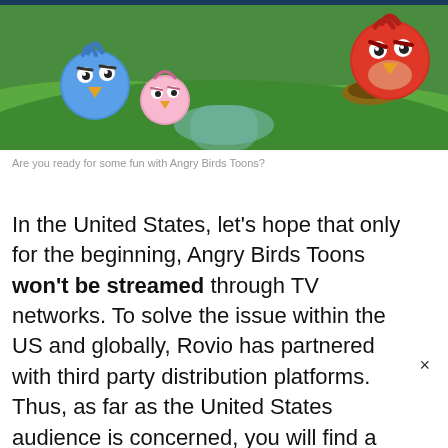[Figure (illustration): Angry Birds Toons characters - two blue/pink birds on left side and a red bird on the right, set against a green grassy background with a path and a nest]
Are you ready for some fun with Angry Birds Toons?
In the United States, let's hope that only for the beginning, Angry Birds Toons won't be streamed through TV networks. To solve the issue within the US and globally, Rovio has partnered with third party distribution platforms. Thus, as far as the United States audience is concerned, you will find a Angry Birds Toons